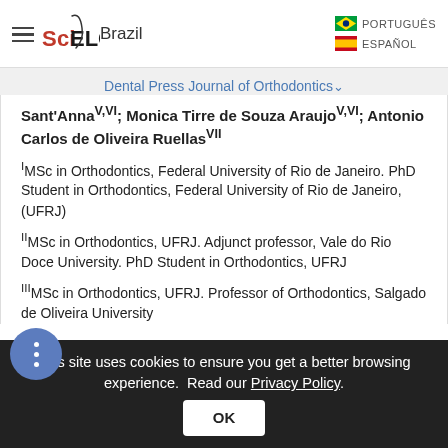[Figure (logo): SciELO Brazil logo with hamburger menu on left, language selectors (PORTUGUÊS, ESPAÑOL) on right with flag icons]
Dental Press Journal of Orthodontics
Sant'AnnaV,VI; Monica Tirre de Souza AraujoV,VI; Antonio Carlos de Oliveira RuellasVII
IMSc in Orthodontics, Federal University of Rio de Janeiro. PhD Student in Orthodontics, Federal University of Rio de Janeiro, (UFRJ)
IIMSc in Orthodontics, UFRJ. Adjunct professor, Vale do Rio Doce University. PhD Student in Orthodontics, UFRJ
IIIMSc in Orthodontics, UFRJ. Professor of Orthodontics, Salgado de Oliveira University
This site uses cookies to ensure you get a better browsing experience. Read our Privacy Policy.